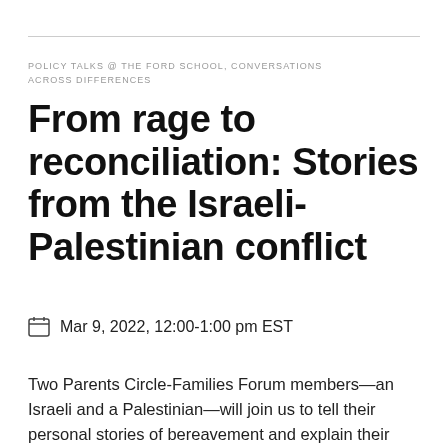POLICY TALKS @ THE FORD SCHOOL, CONVERSATIONS ACROSS DIFFERENCES
From rage to reconciliation: Stories from the Israeli-Palestinian conflict
Mar 9, 2022, 12:00-1:00 pm EST
Two Parents Circle-Families Forum members—an Israeli and a Palestinian—will join us to tell their personal stories of bereavement and explain their choice to engage in dialogue